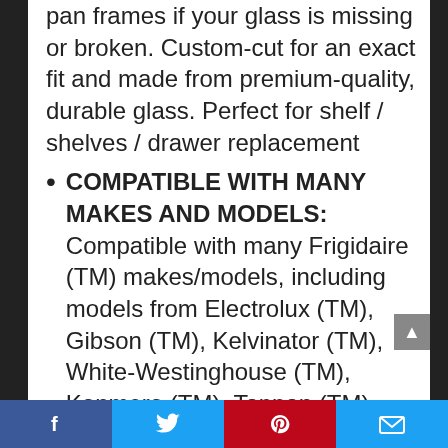pan frames if your glass is missing or broken. Custom-cut for an exact fit and made from premium-quality, durable glass. Perfect for shelf / shelves / drawer replacement
COMPATIBLE WITH MANY MAKES AND MODELS: Compatible with many Frigidaire (TM) makes/models, including models from Electrolux (TM), Gibson (TM), Kelvinator (TM), White-Westinghouse (TM), Kenmore (TM), Tappan (TM), Crosley (TM), Frigidaire (TM) and more
REPLACES MANY PART MODELS:
Facebook | Twitter | Pinterest | Email